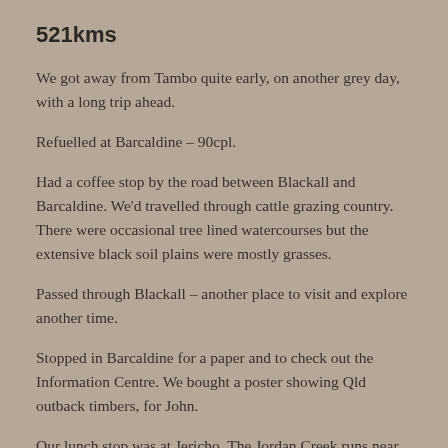521kms
We got away from Tambo quite early, on another grey day, with a long trip ahead.
Refuelled at Barcaldine – 90cpl.
Had a coffee stop by the road between Blackall and Barcaldine. We'd travelled through cattle grazing country. There were occasional tree lined watercourses but the extensive black soil plains were mostly grasses.
Passed through Blackall – another place to visit and explore another time.
Stopped in Barcaldine for a paper and to check out the Information Centre. We bought a poster showing Qld outback timbers, for John.
Our lunch stop was at Jericho. The Jordan Creek runs near